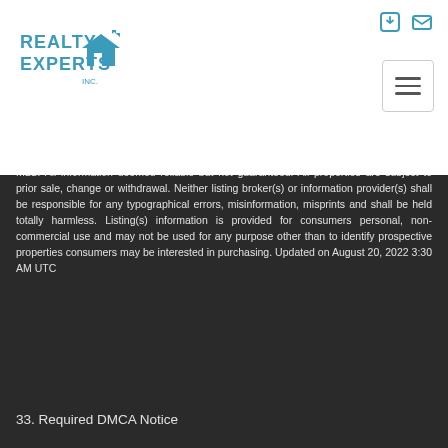[Figure (logo): Realty Experts Inc. logo with house icon in teal/blue, text REALTY EXPERTS INC.]
for sale on this website comes in part from the Internet Data Exchange program of MFR MLS. All information deemed reliable but not guaranteed. All properties are subject to prior sale, change or withdrawal. Neither listing broker(s) or information provider(s) shall be responsible for any typographical errors, misinformation, misprints and shall be held totally harmless. Listing(s) information is provided for consumers personal, non-commercial use and may not be used for any purpose other than to identify prospective properties consumers may be interested in purchasing. Updated on August 20, 2022 3:30 AM UTC
33. Required DMCA Notice